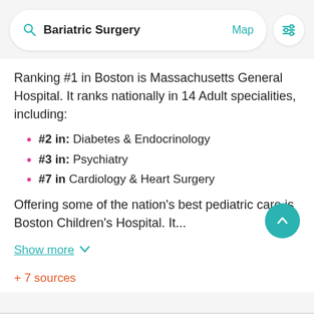[Figure (screenshot): Search bar with magnifying glass icon, 'Bariatric Surgery' text, 'Map' teal link, and filter/settings icon button]
Ranking #1 in Boston is Massachusetts General Hospital. It ranks nationally in 14 Adult specialities, including:
#2 in: Diabetes & Endocrinology
#3 in: Psychiatry
#7 in Cardiology & Heart Surgery
Offering some of the nation's best pediatric care is Boston Children's Hospital. It...
Show more ∨
+ 7 sources